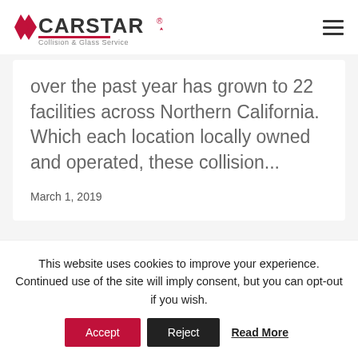[Figure (logo): CARSTAR Collision & Glass Service logo with red star and chevron]
over the past year has grown to 22 facilities across Northern California. Which each location locally owned and operated, these collision...
March 1, 2019
This website uses cookies to improve your experience. Continued use of the site will imply consent, but you can opt-out if you wish.
Accept
Reject
Read More